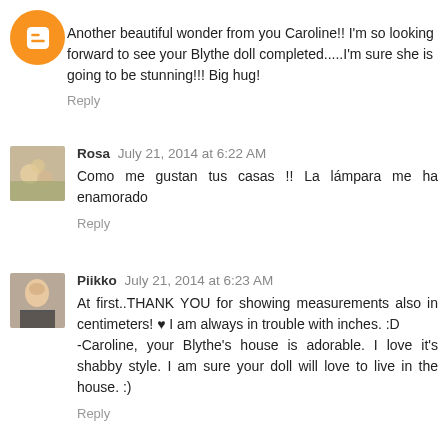Another beautiful wonder from you Caroline!! I'm so looking forward to see your Blythe doll completed.....I'm sure she is going to be stunning!!! Big hug!
Reply
Rosa  July 21, 2014 at 6:22 AM
Como me gustan tus casas !! La lámpara me ha enamorado
Reply
Piikko  July 21, 2014 at 6:23 AM
At first..THANK YOU for showing measurements also in centimeters! ♥ I am always in trouble with inches. :D -Caroline, your Blythe's house is adorable. I love it's shabby style. I am sure your doll will love to live in the house. :)
Reply